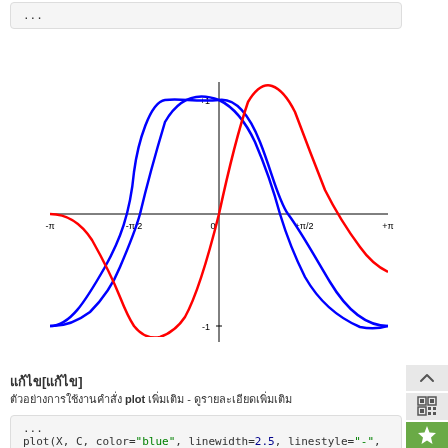...
[Figure (continuous-plot): Plot of sine (blue) and cosine (red) curves over range -π to +π, with x-axis showing labels -π/2, 0, +π/2, +π and y-axis showing +1 and -1. Vertical y-axis and horizontal x-axis drawn in black.]
แก้ไข[แก้ไข]
ตัวอย่างการใช้งานคำสั่ง plot เพิ่มเติม - ดูรายละเอียดเพิ่มเติม
...
plot(X, C, color="blue", linewidth=2.5, linestyle="-",